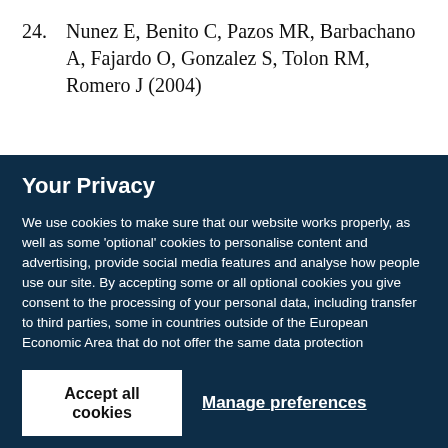24. Nunez E, Benito C, Pazos MR, Barbachano A, Fajardo O, Gonzalez S, Tolon RM, Romero J (2004)
Your Privacy
We use cookies to make sure that our website works properly, as well as some 'optional' cookies to personalise content and advertising, provide social media features and analyse how people use our site. By accepting some or all optional cookies you give consent to the processing of your personal data, including transfer to third parties, some in countries outside of the European Economic Area that do not offer the same data protection standards as the country where you live. You can decide which optional cookies to accept by clicking on 'Manage Settings', where you can also find more information about how your personal data is processed. Further information can be found in our privacy policy.
Accept all cookies
Manage preferences